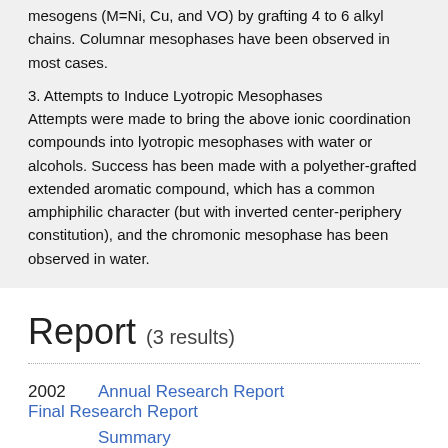mesogens (M=Ni, Cu, and VO) by grafting 4 to 6 alkyl chains. Columnar mesophases have been observed in most cases.
3. Attempts to Induce Lyotropic Mesophases
Attempts were made to bring the above ionic coordination compounds into lyotropic mesophases with water or alcohols. Success has been made with a polyether-grafted extended aromatic compound, which has a common amphiphilic character (but with inverted center-periphery constitution), and the chromonic mesophase has been observed in water.
Report (3 results)
2002   Annual Research Report   Final Research Report
Summary